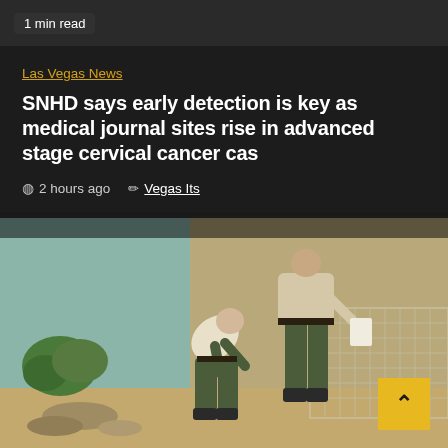1 min read
Las Vegas News
SNHD says early detection is key as medical journal sites rise in advanced stage cervical cancer cas
2 hours ago   Vegas Its
[Figure (photo): Two law enforcement officers bending over and standing near a fence outdoors, with desert landscaping and a teal building in the background.]